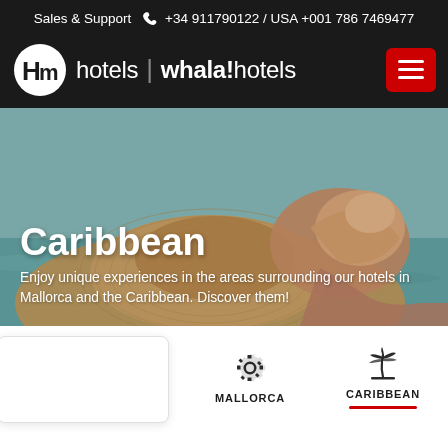Sales & Support ☎ +34 911790122 / USA +001 786 7469477
[Figure (logo): HM Hotels and whala!hotels logo on dark background with hamburger menu button]
[Figure (photo): Photo of a person holding a seashell, beach/Caribbean setting, used as hero background]
Caribbean
Enjoy unique experiences in the areas surrounding our hotels in Mallorca and the Caribbean. Discover them!
MALLORCA
CARIBBEAN